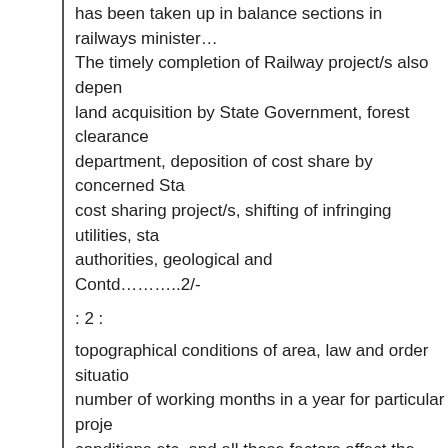has been taken up in balance sections in railways minister… The timely completion of Railway project/s also depends on land acquisition by State Government, forest clearance from department, deposition of cost share by concerned States for cost sharing project/s, shifting of infringing utilities, statutory authorities, geological and Contd………..2/-
: 2 :
topographical conditions of area, law and order situation, number of working months in a year for particular project, conditions etc. and all these factors affect the completion. However, railway is making all efforts.
Since 2014, there has been substantial increase in budget commensurate commissioning of infrastructure projects. allocation for infrastructure projects and safety works, Chhattisgarh, during 2014-19 has increased to ?2,274 per year during 2009-14 which is 631% more than average of 2009-14. Budget outlay for these projects has been 2019-20 (951% more than average annual budget outlay